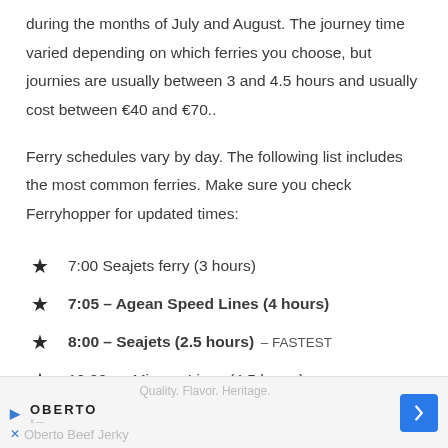during the months of July and August. The journey time varied depending on which ferries you choose, but journies are usually between 3 and 4.5 hours and usually cost between €40 and €70..
Ferry schedules vary by day. The following list includes the most common ferries. Make sure you check Ferryhopper for updated times:
7:00 Seajets ferry (3 hours)
7:05 – Agean Speed Lines (4 hours)
8:00 – Seajets (2.5 hours) – FASTEST
10:00am Minoan Lines (4.5 hours)